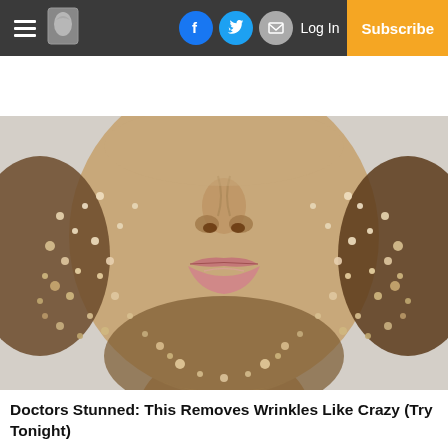Navigation bar with hamburger menu, logo, Facebook, Twitter, Email social icons, Log In, Subscribe
[Figure (photo): Close-up photo of a person's face covered in salt or sugar crystals/scrub, showing nose, lips, and chin area against a light grey background. Skincare/beauty editorial image.]
Doctors Stunned: This Removes Wrinkles Like Crazy (Try Tonight)